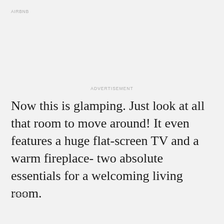AIRBNB
ADVERTISEMENT
Now this is glamping. Just look at all that room to move around! It even features a huge flat-screen TV and a warm fireplace- two absolute essentials for a welcoming living room.
AIRBNB